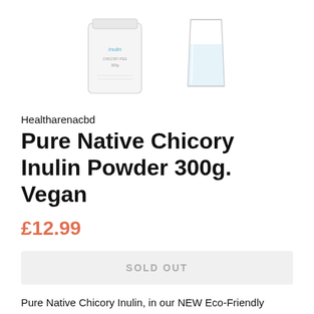[Figure (photo): Product images: a white bag labeled 'Inulin' and a glass of water, shown side by side on a white background.]
Healtharenacbd
Pure Native Chicory Inulin Powder 300g. Vegan
£12.99
SOLD OUT
Pure Native Chicory Inulin, in our NEW Eco-Friendly Packaging.
Inulin is not digested or absorbed in the stomach. It travels to the lower bowel, where it promotes the growth of healthy...